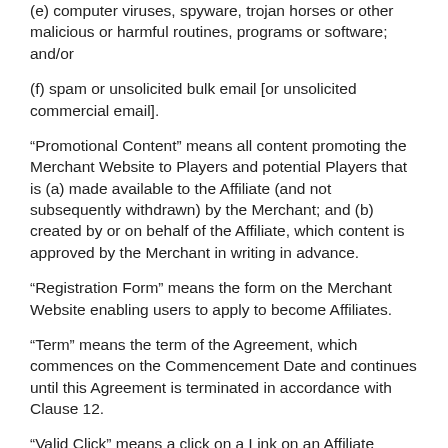(e) computer viruses, spyware, trojan horses or other malicious or harmful routines, programs or software; and/or
(f) spam or unsolicited bulk email [or unsolicited commercial email].
“Promotional Content” means all content promoting the Merchant Website to Players and potential Players that is (a) made available to the Affiliate (and not subsequently withdrawn) by the Merchant; and (b) created by or on behalf of the Affiliate, which content is approved by the Merchant in writing in advance.
“Registration Form” means the form on the Merchant Website enabling users to apply to become Affiliates.
“Term” means the term of the Agreement, which commences on the Commencement Date and continues until this Agreement is terminated in accordance with Clause 12.
“Valid Click” means a click on a Link on an Affiliate Website that results in the Merchant